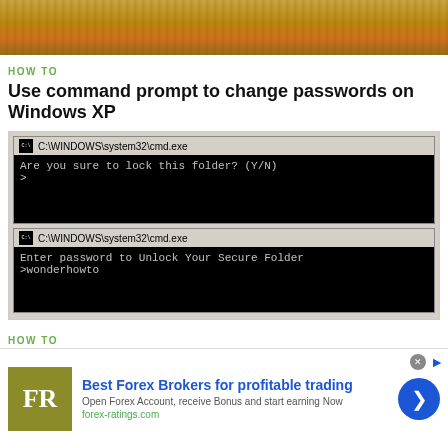[Figure (screenshot): Autumn landscape photo cropped at top]
HOW TO
Use command prompt to change passwords on Windows XP
[Figure (screenshot): Two Windows XP command prompt windows. First shows: Are you sure to lock this folder? (Y/N) with prompt >. Second shows: Enter password to Unlock Your Secure Folder with >wonderhowto]
HOW TO
Lock Folder Without Any Software with Password
[Figure (infographic): Advertisement: Best Forex Brokers for profitable trading. FR logo (olive/yellow-green square), text: Open Forex Account, receive Bonus and start earning Now, forex-ratings.com, blue arrow button on right.]